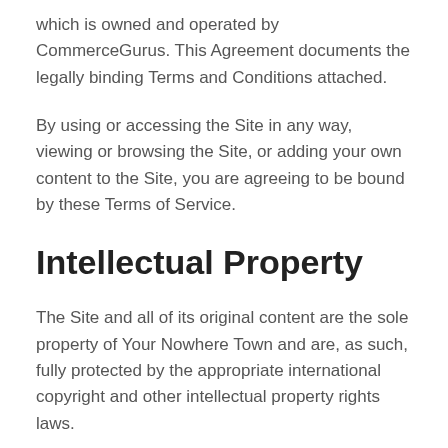which is owned and operated by CommerceGurus. This Agreement documents the legally binding Terms and Conditions attached.
By using or accessing the Site in any way, viewing or browsing the Site, or adding your own content to the Site, you are agreeing to be bound by these Terms of Service.
Intellectual Property
The Site and all of its original content are the sole property of Your Nowhere Town and are, as such, fully protected by the appropriate international copyright and other intellectual property rights laws.
Links to Other Websites
Our Site does contain a number of links to other websites and